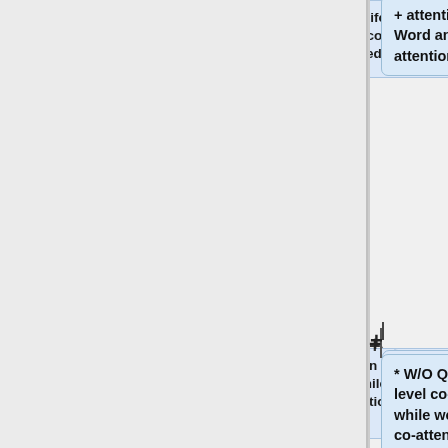[Figure (flowchart): Partial flowchart showing ablation study nodes. First node (top right): 'attention is set to be uniform. Word and question level co-attentions are still modeled)'. Second node: '* W/O Q-Atten(no question level co-attention is performed while word and phrase level co-attentions are still modeled)'. Third node: empty box. Fourth node (bottom): 'The results of such ablation experiments can be seen in'. Plus signs connect the nodes.]